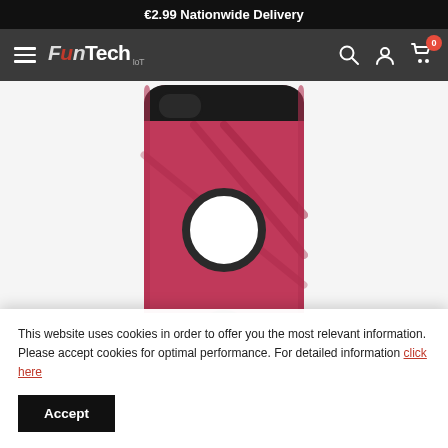€2.99 Nationwide Delivery
[Figure (screenshot): FunTech IoT navigation bar with hamburger menu, logo, search icon, account icon, and cart with 0 badge]
[Figure (photo): Red/pink rugged phone case for iPhone with camera cutout holes and geometric pattern design]
This website uses cookies in order to offer you the most relevant information. Please accept cookies for optimal performance. For detailed information click here
Accept